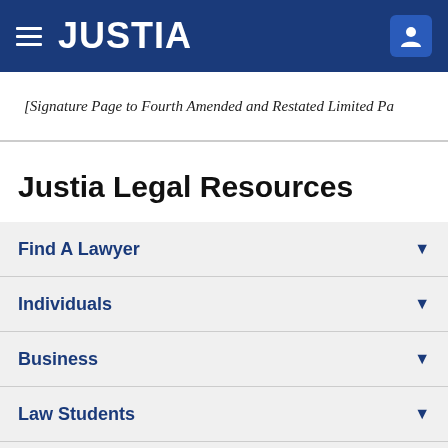JUSTIA
[Signature Page to Fourth Amended and Restated Limited Pa
Justia Legal Resources
Find A Lawyer
Individuals
Business
Law Students
US Federal Law